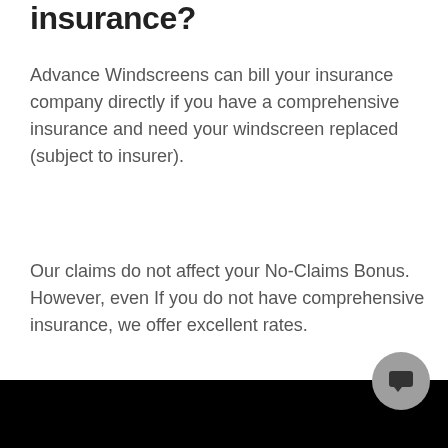insurance?
Advance Windscreens can bill your insurance company directly if you have a comprehensive insurance and need your windscreen replaced (subject to insurer).
Our claims do not affect your No-Claims Bonus. However, even If you do not have comprehensive insurance, we offer excellent rates.
GET A QUOTE
[Figure (other): Black bar at bottom of page with a grey circular chat button overlay in bottom right corner]